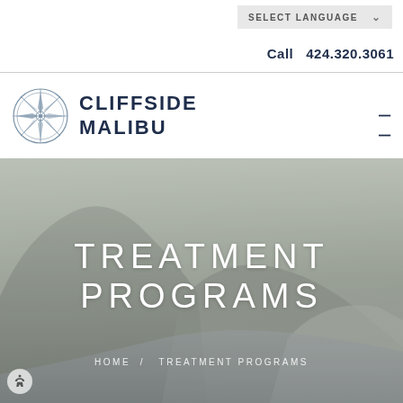SELECT LANGUAGE
Call 424.320.3061
[Figure (logo): Cliffside Malibu compass rose logo with text CLIFFSIDE MALIBU]
[Figure (photo): Coastal cliffs with ocean view background image]
TREATMENT PROGRAMS
HOME / TREATMENT PROGRAMS